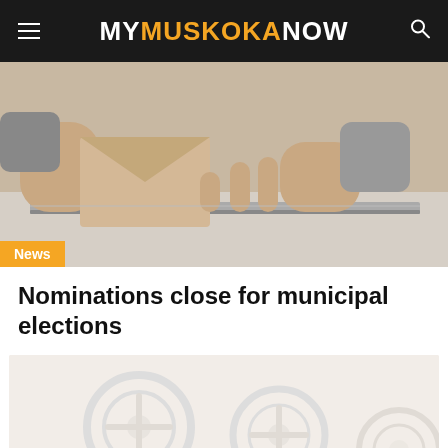MY MUSKOKA NOW
[Figure (photo): Hands inserting a ballot envelope into a ballot box at a polling station]
News
Nominations close for municipal elections
[Figure (photo): Film reels on a light background (faint, decorative)]